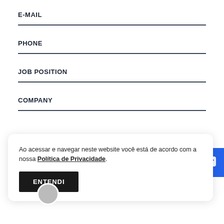E-MAIL
PHONE
JOB POSITION
COMPANY
Ao acessar e navegar neste website você está de acordo com a nossa Política de Privacidade.
ENTENDI